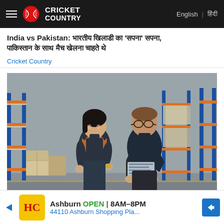Cricket Country | English | हिंदी
India vs Pakistan: भारतीय खिलाडी का 'सपना' सपना, पाकिस्तान के साथ मैच खेलना चाहते थे
Cricket Country
[Figure (photo): Two warehouse workers, a woman in an orange vest and a man in glasses, looking at a tablet device. Behind them are blue and orange metal shelving racks in a large warehouse.]
Research Enterprise Cloud Data Storage ERP Solutions
Yahoo Se...
Ashburn OPEN 8AM–8PM 44110 Ashburn Shopping Pla...